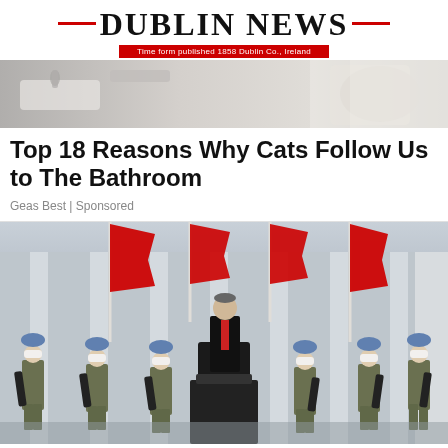DUBLIN NEWS — Time form published 1858 Dublin Co., Ireland
[Figure (photo): Photo of a bathroom sink scene, cropped at top]
Top 18 Reasons Why Cats Follow Us to The Bathroom
Geas Best | Sponsored
[Figure (photo): Photo of a man in a suit speaking at a podium, surrounded by masked soldiers in camouflage gear holding rifles, with red flags on flagpoles in the background against a light grey building facade]